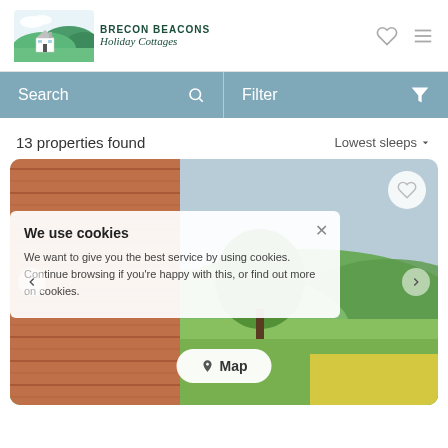[Figure (logo): Brecon Beacons Holiday Cottages logo with illustrated cottage, green hills and blue sky]
BRECON BEACONS Holiday Cottages
Search
Filter
13 properties found
Lowest sleeps
[Figure (photo): Property listing photo showing a red ceramic pot or sculpture in foreground and green countryside hills in background]
We use cookies
We want to give you the best service by using cookies. Continue browsing if you're happy with this, or find out more on cookies.
Map